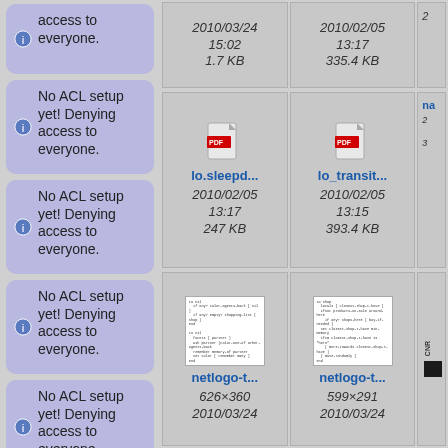No ACL setup yet! Denying access to everyone.
No ACL setup yet! Denying access to everyone.
No ACL setup yet! Denying access to everyone.
No ACL setup yet! Denying access to everyone.
No ACL setup yet! Denying access to everyone.
[Figure (screenshot): File listing showing dates 2010/03/24 15:02 1.7 KB and 2010/02/05 13:17 335.4 KB at top row]
[Figure (screenshot): PDF file icons for lo.sleepd... (2010/02/05 13:17 247 KB) and lo_transit... (2010/02/05 13:15 393.4 KB)]
[Figure (screenshot): Text file thumbnails for netlogo-t... (626x360 2010/03/24) and netlogo-t... (599x291 2010/03/24)]